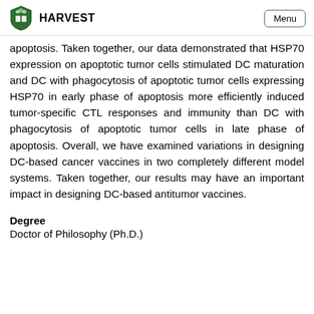HARVEST  Menu
apoptosis. Taken together, our data demonstrated that HSP70 expression on apoptotic tumor cells stimulated DC maturation and DC with phagocytosis of apoptotic tumor cells expressing HSP70 in early phase of apoptosis more efficiently induced tumor-specific CTL responses and immunity than DC with phagocytosis of apoptotic tumor cells in late phase of apoptosis. Overall, we have examined variations in designing DC-based cancer vaccines in two completely different model systems. Taken together, our results may have an important impact in designing DC-based antitumor vaccines.
Degree
Doctor of Philosophy (Ph.D.)